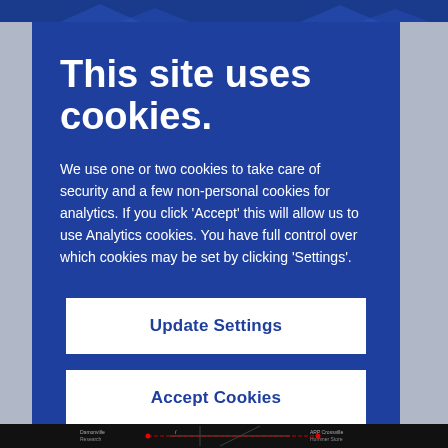This site uses cookies.
We use one or two cookies to take care of security and a few non-personal cookies for analytics. If you click 'Accept' this will allow us to use Analytics cookies. You have full control over which cookies may be set by clicking 'Settings'.
Update Settings
Accept Cookies